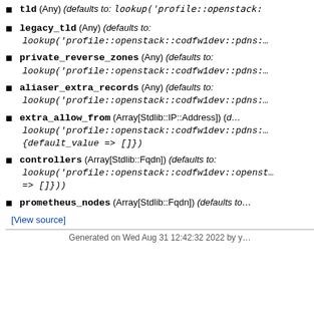tld (Any) (defaults to: lookup('profile::openstack:…
legacy_tld (Any) (defaults to: lookup('profile::openstack::codfw1dev::pdns:…
private_reverse_zones (Any) (defaults to: lookup('profile::openstack::codfw1dev::pdns:…
aliaser_extra_records (Any) (defaults to: lookup('profile::openstack::codfw1dev::pdns:…
extra_allow_from (Array[Stdlib::IP::Address]) (defaults to: lookup('profile::openstack::codfw1dev::pdns:… {default_value => []})
controllers (Array[Stdlib::Fqdn]) (defaults to: lookup('profile::openstack::codfw1dev::openst… => []})
prometheus_nodes (Array[Stdlib::Fqdn]) (defaults to…
[View source]
Generated on Wed Aug 31 12:42:32 2022 by y…